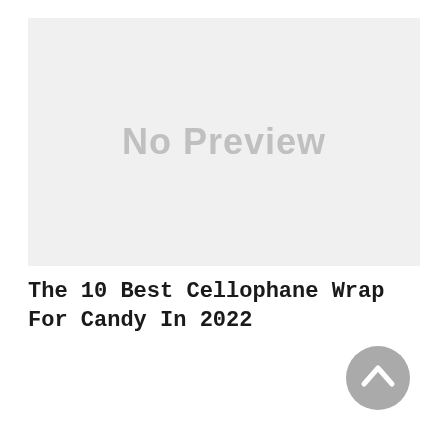[Figure (other): No Preview placeholder image — a light gray rectangle with the text 'No Preview' in large gray bold sans-serif letters centered within it.]
The 10 Best Cellophane Wrap For Candy In 2022